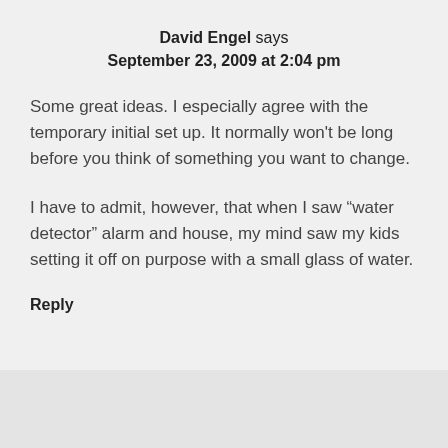David Engel says
September 23, 2009 at 2:04 pm
Some great ideas. I especially agree with the temporary initial set up. It normally won't be long before you think of something you want to change.
I have to admit, however, that when I saw “water detector” alarm and house, my mind saw my kids setting it off on purpose with a small glass of water.
Reply